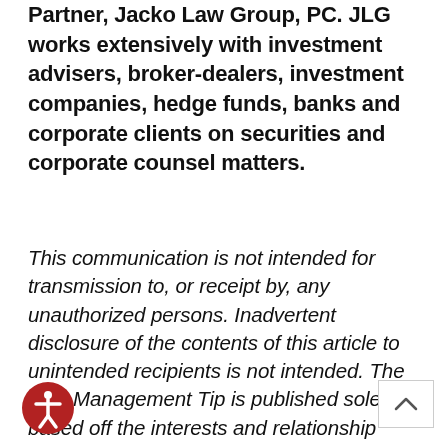Author: Michelle L. Jacko, Esq., Managing Partner, Jacko Law Group, PC. JLG works extensively with investment advisers, broker-dealers, investment companies, hedge funds, banks and corporate clients on securities and corporate counsel matters.
This communication is not intended for transmission to, or receipt by, any unauthorized persons. Inadvertent disclosure of the contents of this article to unintended recipients is not intended. The Risk Management Tip is published solely based off the interests and relationship between the clients and friends of the Jacko Law Group ("JLG") and in no way be construed as legal advice. The opinions shared in the